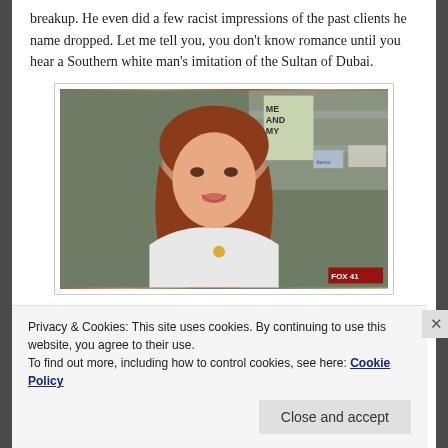breakup. He even did a few racist impressions of the past clients he name dropped. Let me tell you, you don't know romance until you hear a Southern white man's imitation of the Sultan of Dubai.
[Figure (photo): A woman with red/auburn hair, smiling, wearing a white top, in what appears to be an indoor setting with shelves in the background. FOX 41 watermark visible in bottom right corner.]
Privacy & Cookies: This site uses cookies. By continuing to use this website, you agree to their use.
To find out more, including how to control cookies, see here: Cookie Policy
Close and accept